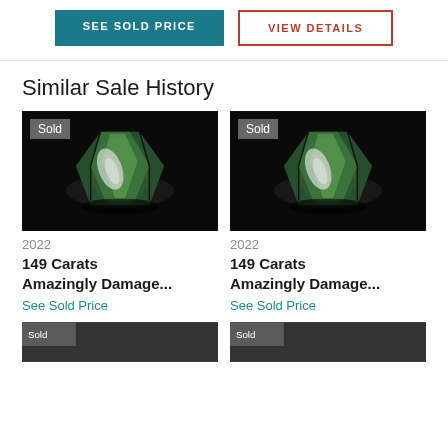SEE SOLD PRICE
VIEW DETAILS
Similar Sale History
[Figure (photo): Green tourmaline crystal mineral specimen on black background with Sold badge, 2022, 149 Carats Amazingly Damage...]
[Figure (photo): Green tourmaline crystal mineral specimen on black background with Sold badge, 2022, 149 Carats Amazingly Damage...]
2022
149 Carats
Amazingly Damage...
See Sold Price
2022
149 Carats
Amazingly Damage...
See Sold Price
[Figure (photo): Partial view of another mineral specimen listing at bottom left]
[Figure (photo): Partial view of another mineral specimen listing at bottom right]